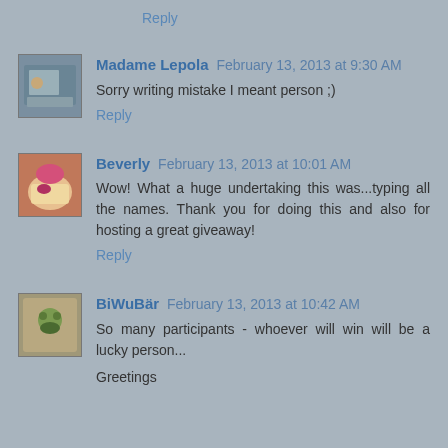Reply
Madame Lepola February 13, 2013 at 9:30 AM
Sorry writing mistake I meant person ;)
Reply
Beverly February 13, 2013 at 10:01 AM
Wow! What a huge undertaking this was...typing all the names. Thank you for doing this and also for hosting a great giveaway!
Reply
BiWuBär February 13, 2013 at 10:42 AM
So many participants - whoever will win will be a lucky person...
Greetings